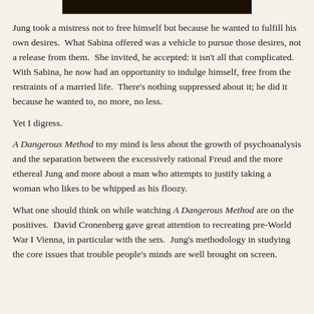[Figure (photo): Top portion of a photograph, dark tones, partially cropped at top of page]
Jung took a mistress not to free himself but because he wanted to fulfill his own desires.  What Sabina offered was a vehicle to pursue those desires, not a release from them.  She invited, he accepted: it isn't all that complicated.  With Sabina, he now had an opportunity to indulge himself, free from the restraints of a married life.  There's nothing suppressed about it; he did it because he wanted to, no more, no less.
Yet I digress.
A Dangerous Method to my mind is less about the growth of psychoanalysis and the separation between the excessively rational Freud and the more ethereal Jung and more about a man who attempts to justify taking a woman who likes to be whipped as his floozy.
What one should think on while watching A Dangerous Method are on the positives.  David Cronenberg gave great attention to recreating pre-World War I Vienna, in particular with the sets.  Jung's methodology in studying the core issues that trouble people's minds are well brought on screen.